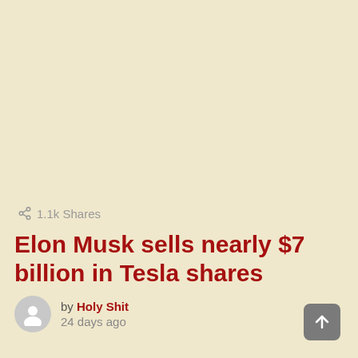1.1k Shares
Elon Musk sells nearly $7 billion in Tesla shares
by Holy Shit
24 days ago